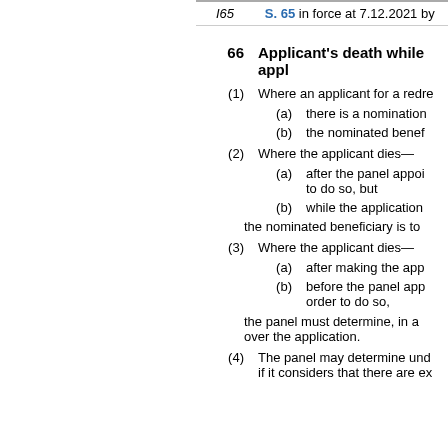I65    S. 65 in force at 7.12.2021 by
66    Applicant's death while appl
(1)  Where an applicant for a redre
(a)  there is a nomination
(b)  the nominated benef
(2)  Where the applicant dies—
(a)  after the panel appoi to do so, but
(b)  while the application
the nominated beneficiary is to
(3)  Where the applicant dies—
(a)  after making the app
(b)  before the panel app order to do so,
the panel must determine, in a over the application.
(4)  The panel may determine und if it considers that there are ex